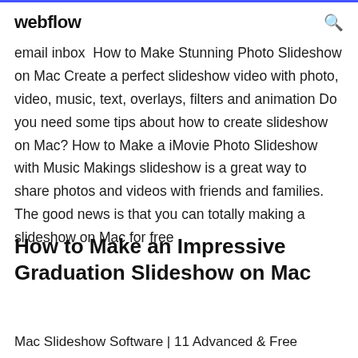webflow
email inbox  How to Make Stunning Photo Slideshow on Mac Create a perfect slideshow video with photo, video, music, text, overlays, filters and animation Do you need some tips about how to create slideshow on Mac? How to Make a iMovie Photo Slideshow with Music Makings slideshow is a great way to share photos and videos with friends and families. The good news is that you can totally making a slideshow on Mac for free
How to Make an Impressive Graduation Slideshow on Mac
Mac Slideshow Software | 11 Advanced & Free